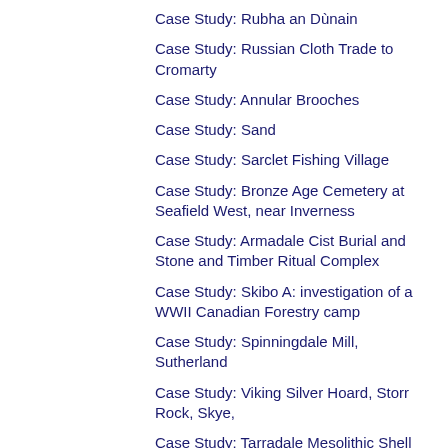Case Study: Rubha an Dùnain
Case Study: Russian Cloth Trade to Cromarty
Case Study: Annular Brooches
Case Study: Sand
Case Study: Sarclet Fishing Village
Case Study: Bronze Age Cemetery at Seafield West, near Inverness
Case Study: Armadale Cist Burial and Stone and Timber Ritual Complex
Case Study: Skibo A: investigation of a WWII Canadian Forestry camp
Case Study: Spinningdale Mill, Sutherland
Case Study: Viking Silver Hoard, Storr Rock, Skye,
Case Study: Tarradale Mesolithic Shell Midden
Case Study: Ava: An Early Bronze Age Cist Burial from Achavanich, Caithness
Case Study: Fortrose and Rosemarkie Waste Water Works
Case Study: Four Caves at Geodha Smoo, Sutherland